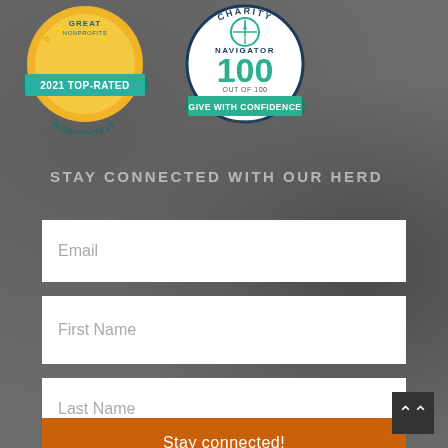[Figure (logo): GreatNonprofits 2021 Top-Rated Nonprofit badge - gold circular seal with stars and teal banner]
[Figure (logo): Charity Navigator badge - circular white badge with teal compass logo, score 100 out of 100, Give With Confidence banner]
STAY CONNECTED WITH OUR HERD
Email
First Name
Last Name
Stay connected!